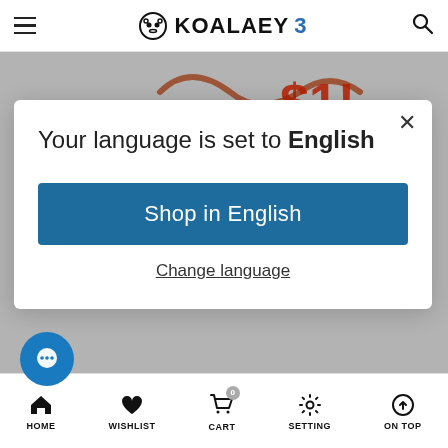KOALAEYE
[Figure (screenshot): Partial view of eyeglasses promotional banner in background behind modal]
Your language is set to English
Shop in English
Change language
HOME  WISHLIST  CART  SETTING  ON TOP